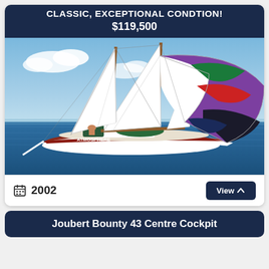CLASSIC, EXCEPTIONAL CONDTION! $119,500
[Figure (photo): Sailboat named ATMOSPHERE sailing on open blue water with a large colorful spinnaker sail (purple, green, red, white, black South Africa flag design) deployed, two masts with white sails, brown/red hull with white accents, person visible in cockpit]
2002
View
Joubert Bounty 43 Centre Cockpit